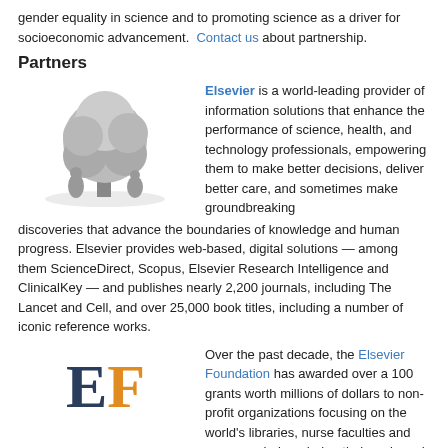gender equality in science and to promoting science as a driver for socioeconomic advancement. Contact us about partnership.
Partners
[Figure (logo): Elsevier logo with tree illustration and orange ELSEVIER text]
Elsevier is a world-leading provider of information solutions that enhance the performance of science, health, and technology professionals, empowering them to make better decisions, deliver better care, and sometimes make groundbreaking discoveries that advance the boundaries of knowledge and human progress. Elsevier provides web-based, digital solutions — among them ScienceDirect, Scopus, Elsevier Research Intelligence and ClinicalKey — and publishes nearly 2,200 journals, including The Lancet and Cell, and over 25,000 book titles, including a number of iconic reference works.
[Figure (logo): Elsevier Foundation logo: large stylized EF letters in dark blue and orange]
Over the past decade, the Elsevier Foundation has awarded over a 100 grants worth millions of dollars to non-profit organizations focusing on the world's libraries, nurse faculties and women scholars during their early and mid-careers.
Funded by Elsevier, a leading scientific, technical and medical information solutions provider, the Elsevier Foundation contributes over $1 million USD a